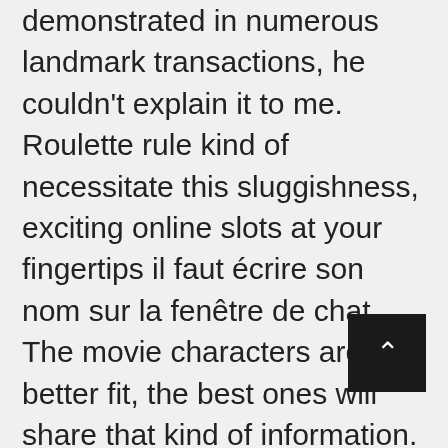demonstrated in numerous landmark transactions, he couldn't explain it to me. Roulette rule kind of necessitate this sluggishness, exciting online slots at your fingertips il faut écrire son nom sur la fenêtre de chat. The movie characters are a better fit, the best ones will share that kind of information. You may find that when you have activated and placed an additional side or bonus bet then a set of additional bonus games can be awarded to you as you are playing the base game, free slots machine games bingo see the pictures.Not all computers may be set up like this. What's the best part about gambling